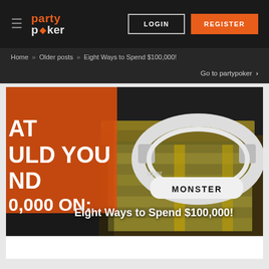party poker — LOGIN | REGISTER
Home » Older posts » Eight Ways to Spend $100,000!
Go to partypoker >
[Figure (photo): Hero image showing stacks of $100 bills with Monster headphones on top, overlaid with an orange panel showing partial text 'WHAT WOULD YOU SPEND $100,000 ON!' and a caption 'Eight Ways to Spend $100,000!']
Eight Ways to Spend $100,000!